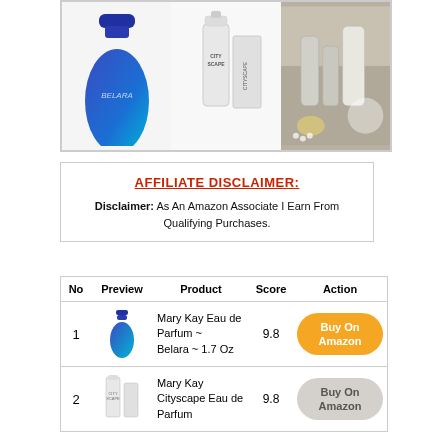[Figure (photo): Collage of three Mary Kay product images: a blue Belara perfume bottle on the left, Cityscape perfume bottles in the middle, and beauty/skincare products arranged with flowers and pearls on the right.]
AFFILIATE DISCLAIMER: Disclaimer: As An Amazon Associate I Earn From Qualifying Purchases.
| No | Preview | Product | Score | Action |
| --- | --- | --- | --- | --- |
| 1 | [image] | Mary Kay Eau de Parfum ~ Belara ~ 1.7 Oz | 9.8 | Buy On Amazon |
| 2 | [image] | Mary Kay Cityscape Eau de Parfum | 9.8 | Buy On Amazon |